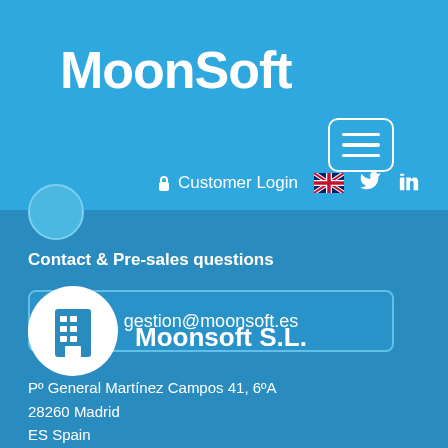[Figure (logo): Moonsoft logo in white handwritten-style text on blue background]
[Figure (screenshot): Hamburger menu button (three horizontal lines) in white rounded rectangle border]
Customer Login
[Figure (illustration): UK flag icon, Twitter bird icon, LinkedIn icon in white on blue background]
Contact & Pre-sales questions
gestion@moonsoft.es
[Figure (illustration): Building/office icon in dark blue inside white circle]
Moonsoft S.L.
Pº General Martínez Campos 41, 6ºA
28260 Madrid
ES Spain